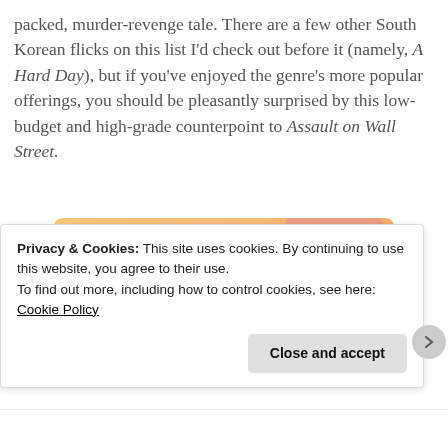packed, murder-revenge tale. There are a few other South Korean flicks on this list I'd check out before it (namely, A Hard Day), but if you've enjoyed the genre's more popular offerings, you should be pleasantly surprised by this low-budget and high-grade counterpoint to Assault on Wall Street.
[Figure (illustration): WordPress advertisement banner with peach/orange gradient background and overlapping pastel circles (pink, mauve). Bold black text reads 'WordPress in the back.']
Privacy & Cookies: This site uses cookies. By continuing to use this website, you agree to their use.
To find out more, including how to control cookies, see here: Cookie Policy